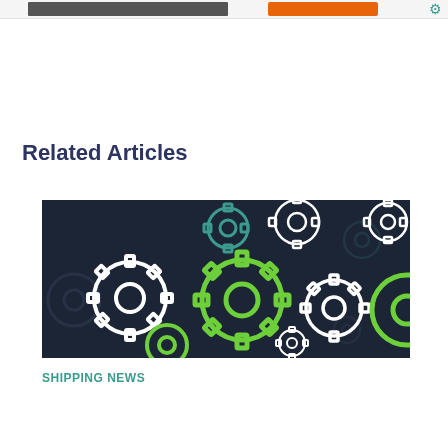[Figure (screenshot): Top banner strip showing a partial website header with a dark image on left side, an orange button, and a gear/settings icon on the right]
Related Articles
[Figure (illustration): Dark navy background with multiple gear icons in white, green, and teal outline styles arranged across the image]
SHIPPING NEWS